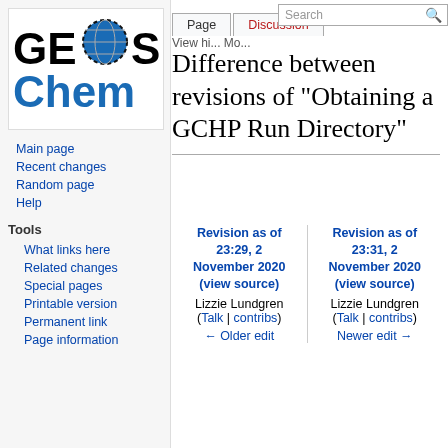Log in  Request account
[Figure (logo): GEOS-Chem wiki logo with globe icon]
Page  Discussion
View history  More  Search
Difference between revisions of "Obtaining a GCHP Run Directory"
Main page
Recent changes
Random page
Help
Tools
What links here
Related changes
Special pages
Printable version
Permanent link
Page information
| Revision as of 23:29, 2 November 2020 (view source) | Revision as of 23:31, 2 November 2020 (view source) |
| --- | --- |
| Lizzie Lundgren | Lizzie Lundgren |
| (Talk | contribs) | (Talk | contribs) |
| ← Older edit | Newer edit → |